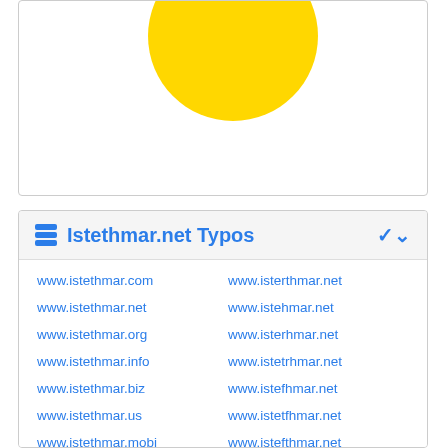[Figure (illustration): Yellow circle partially visible at top of a white card, cropped at the top]
Istethmar.net Typos
www.istethmar.com
www.isterthmar.net
www.istethmar.net
www.istehmar.net
www.istethmar.org
www.isterhmar.net
www.istethmar.info
www.istetrhmar.net
www.istethmar.biz
www.istefhmar.net
www.istethmar.us
www.istetfhmar.net
www.istethmar.mobi
www.istefthmar.net
www.stethmar.net
www.isteghmar.net